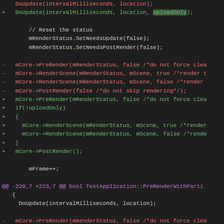[Figure (screenshot): Code diff screenshot showing C++ source changes with red (removed) and green (added) lines on dark background. Shows DoUpdate calls, mRenderStatus resets, mCore render calls with uploadOnly conditional, mFrame increment, and two @@ diff hunks.]